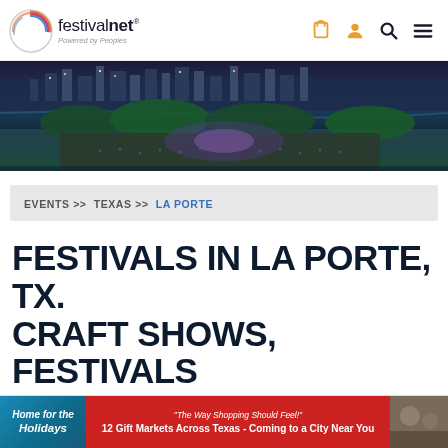festivalnet. Powered by Peoples — navigation icons: cart, user, search, menu
[Figure (photo): Aerial night view of a large outdoor music festival with city skyline, river, and crowd in Austin, Texas]
EVENTS >> TEXAS >> LA PORTE
FESTIVALS IN LA PORTE, TX. CRAFT SHOWS, FESTIVALS
[Figure (infographic): Advertisement banner: 'Home for the Holidays' with text '12 Gift Markets Across Texas - Coming to a City Near You' and 'The Way Shopping Should Feel!']